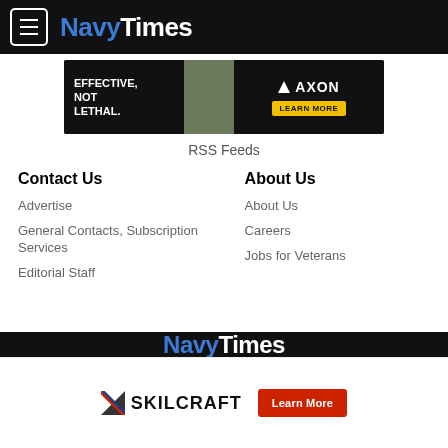NavyTimes
[Figure (infographic): AXON advertisement banner: left black section reads EFFECTIVE, NOT LETHAL. Center shows soldier image. Right section has AXON logo and LEARN MORE button.]
RSS Feeds
Contact Us
About Us
Advertise
About Us
General Contacts, Subscription Services
Careers
Editorial Staff
Jobs for Veterans
NavyTimes
[Figure (logo): SKILCRAFT logo with American flag stripe and Learn More red button]